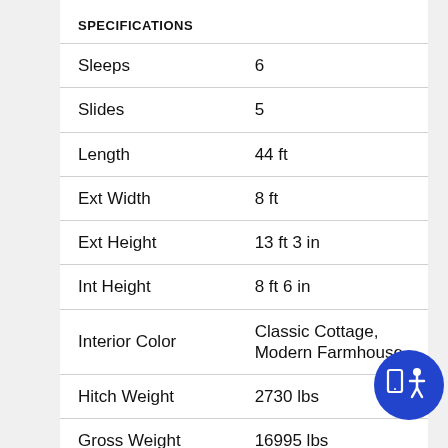SPECIFICATIONS
| Specification | Value |
| --- | --- |
| Sleeps | 6 |
| Slides | 5 |
| Length | 44 ft |
| Ext Width | 8 ft |
| Ext Height | 13 ft 3 in |
| Int Height | 8 ft 6 in |
| Interior Color | Classic Cottage, Modern Farmhouse |
| Hitch Weight | 2730 lbs |
| Gross Weight | 16995 lbs |
| Dry Weight | 14545 lbs |